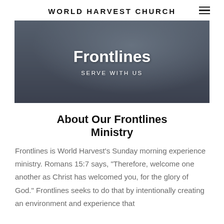WORLD HARVEST CHURCH
[Figure (photo): Hero banner image showing people, with overlay text 'Frontlines' and 'SERVE WITH US']
About Our Frontlines Ministry
Frontlines is World Harvest's Sunday morning experience ministry. Romans 15:7 says, “Therefore, welcome one another as Christ has welcomed you, for the glory of God.” Frontlines seeks to do that by intentionally creating an environment and experience that